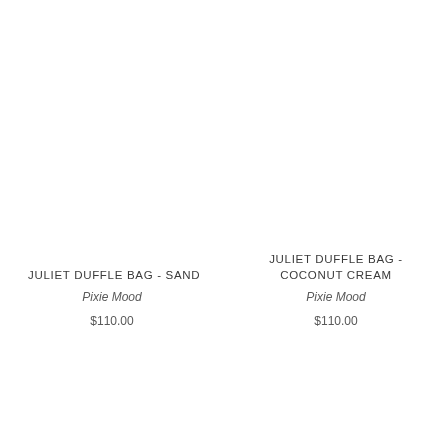JULIET DUFFLE BAG - SAND
Pixie Mood
$110.00
JULIET DUFFLE BAG - COCONUT CREAM
Pixie Mood
$110.00